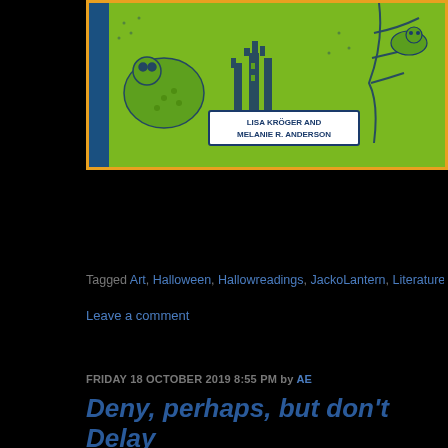[Figure (illustration): Book cover illustration with green background showing monsters/creatures, a castle, and a banner reading 'LISA KRÖGER AND MELANIE R. ANDERSON'. Has a dark blue spine on left and orange border.]
Tagged Art, Halloween, Hallowreadings, JackoLantern, Literature, Monster,
Leave a comment
FRIDAY 18 OCTOBER 2019 8:55 PM by AE
Deny, perhaps, but don't Delay